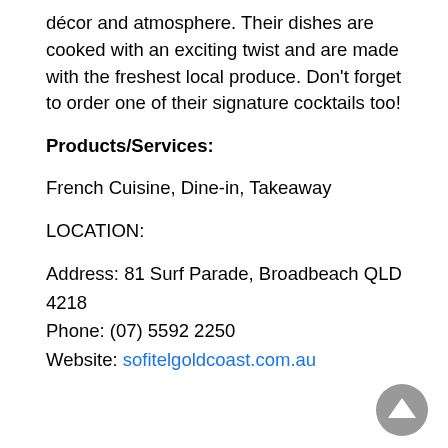décor and atmosphere. Their dishes are cooked with an exciting twist and are made with the freshest local produce. Don't forget to order one of their signature cocktails too!
Products/Services:
French Cuisine, Dine-in, Takeaway
LOCATION:
Address: 81 Surf Parade, Broadbeach QLD 4218
Phone: (07) 5592 2250
Website: sofitelgoldcoast.com.au